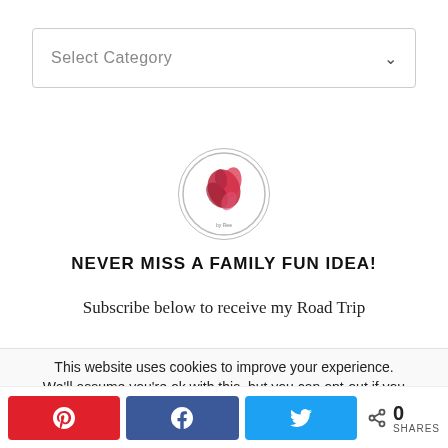Select Category
[Figure (logo): Circular logo with red floral/bird illustration and small text below]
NEVER MISS A FAMILY FUN IDEA!
Subscribe below to receive my Road Trip
This website uses cookies to improve your experience. We'll assume you're ok with this, but you can opt-out if you
0 SHARES